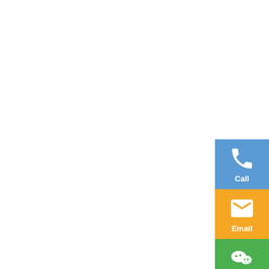[Figure (infographic): Contact sidebar with four colored buttons: Call (blue), Email (orange), Wechat (green), Whatsapp (green), each with a white icon and label text.]